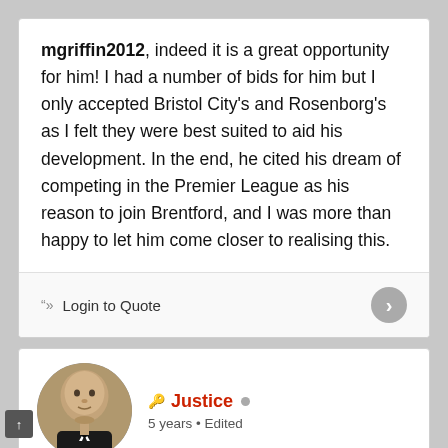mgriffin2012, indeed it is a great opportunity for him! I had a number of bids for him but I only accepted Bristol City's and Rosenborg's as I felt they were best suited to aid his development. In the end, he cited his dream of competing in the Premier League as his reason to join Brentford, and I was more than happy to let him come closer to realising this.
Login to Quote
Justice
5 years • Edited
[Figure (infographic): Banner showing CHRISTIAN SCHÄFER / DER PROFESSOR with Germany flag colors (black, red, gold stripes)]